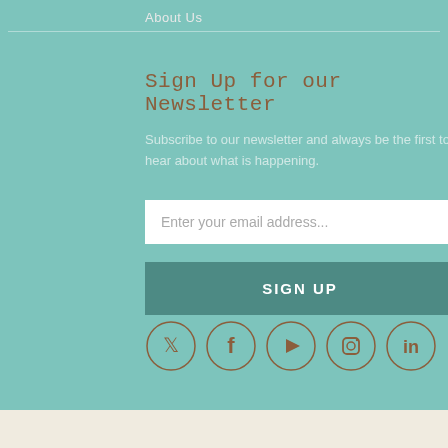About Us
Sign Up for our Newsletter
Subscribe to our newsletter and always be the first to hear about what is happening.
Enter your email address...
SIGN UP
[Figure (illustration): Five social media icons in circles: Twitter, Facebook, YouTube, Instagram, LinkedIn]
This store is PCI Compliant
[Figure (logo): PayPal button/logo badge]